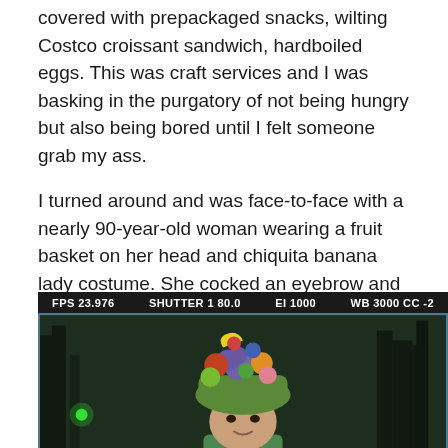covered with prepackaged snacks, wilting Costco croissant sandwich, hardboiled eggs. This was craft services and I was basking in the purgatory of not being hungry but also being bored until I felt someone grab my ass.
I turned around and was face-to-face with a nearly 90-year-old woman wearing a fruit basket on her head and chiquita banana lady costume. She cocked an eyebrow and stared me down. She wasn't tall but she was intimidating. She was Cloris Leachman.
[Figure (photo): A video camera monitor screenshot showing an older woman wearing a colorful fruit basket hat (Chiquita Banana Lady costume) with camera HUD overlay displaying FPS 23.976, SHUTTER 180.0, EI 1000, WB 3000 CC -2. The woman is in a dark outdoor setting.]